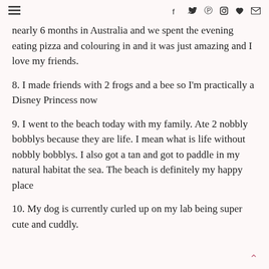hamburger menu | f | twitter | pinterest | instagram | heart | email
nearly 6 months in Australia and we spent the evening eating pizza and colouring in and it was just amazing and I love my friends.
8. I made friends with 2 frogs and a bee so I'm practically a Disney Princess now
9. I went to the beach today with my family. Ate 2 nobbly bobblys because they are life. I mean what is life without nobbly bobblys. I also got a tan and got to paddle in my natural habitat the sea. The beach is definitely my happy place
10. My dog is currently curled up on my lab being super cute and cuddly.